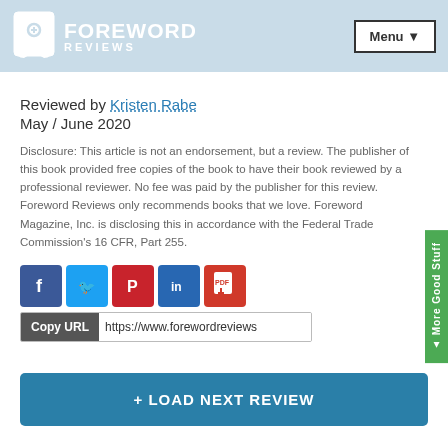FOREWORD REVIEWS | Menu
Reviewed by Kristen Rabe
May / June 2020
Disclosure: This article is not an endorsement, but a review. The publisher of this book provided free copies of the book to have their book reviewed by a professional reviewer. No fee was paid by the publisher for this review. Foreword Reviews only recommends books that we love. Foreword Magazine, Inc. is disclosing this in accordance with the Federal Trade Commission’s 16 CFR, Part 255.
[Figure (screenshot): Social sharing buttons: Facebook, Twitter, Pinterest, LinkedIn, PDF download, and a Copy URL bar showing https://www.forewordreviews]
+ LOAD NEXT REVIEW